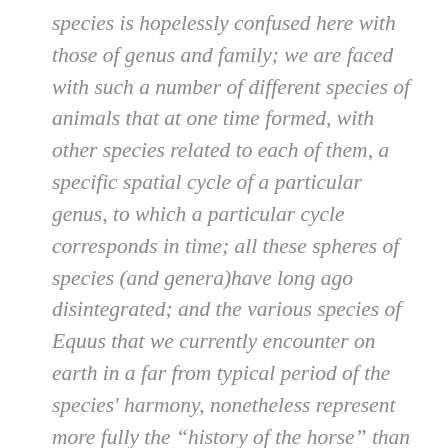species is hopelessly confused here with those of genus and family; we are faced with such a number of different species of animals that at one time formed, with other species related to each of them, a specific spatial cycle of a particular genus, to which a particular cycle corresponds in time; all these spheres of species (and genera)have long ago disintegrated; and the various species of Equus that we currently encounter on earth in a far from typical period of the species' harmony, nonetheless represent more fully the “history of the horse” than a series of heterogeneous animals arranged on an evolutionary ladder. By this we certainly do